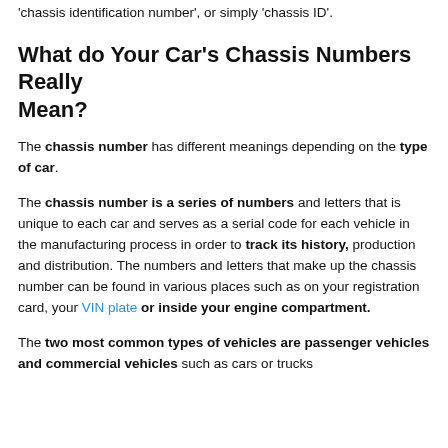'chassis identification number', or simply 'chassis ID'.
What do Your Car's Chassis Numbers Really Mean?
The chassis number has different meanings depending on the type of car.
The chassis number is a series of numbers and letters that is unique to each car and serves as a serial code for each vehicle in the manufacturing process in order to track its history, production and distribution. The numbers and letters that make up the chassis number can be found in various places such as on your registration card, your VIN plate or inside your engine compartment.
The two most common types of vehicles are passenger vehicles and commercial vehicles such as cars or trucks